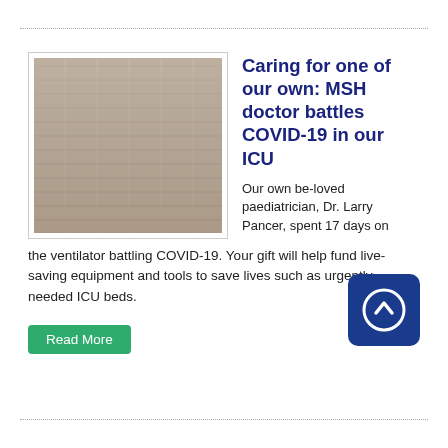[Figure (photo): Elderly man with glasses holding a baby in front of a brick wall background]
Caring for one of our own: MSH doctor battles COVID-19 in our ICU
Our own be-loved paediatrician, Dr. Larry Pancer, spent 17 days on the ventilator battling COVID-19. Your gift will help fund live-saving equipment and tools to save lives such as urgently-needed ICU beds.
Read More
[Figure (logo): Blue rounded square logo with white circular arrow/chevron upward symbol]